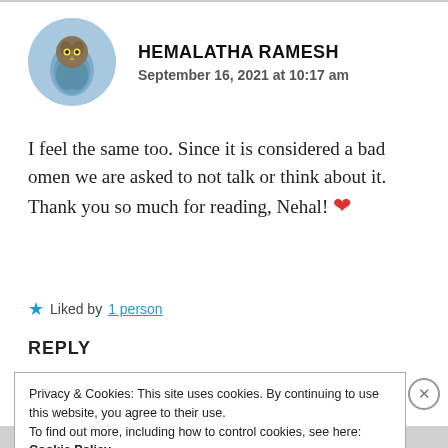[Figure (photo): Circular avatar photo of a bird (possibly an owl or hawk) against a blue sky background]
HEMALATHA RAMESH
September 16, 2021 at 10:17 am
I feel the same too. Since it is considered a bad omen we are asked to not talk or think about it. Thank you so much for reading, Nehal! ❤
★ Liked by 1 person
REPLY
Privacy & Cookies: This site uses cookies. By continuing to use this website, you agree to their use.
To find out more, including how to control cookies, see here: Cookie Policy
Close and accept